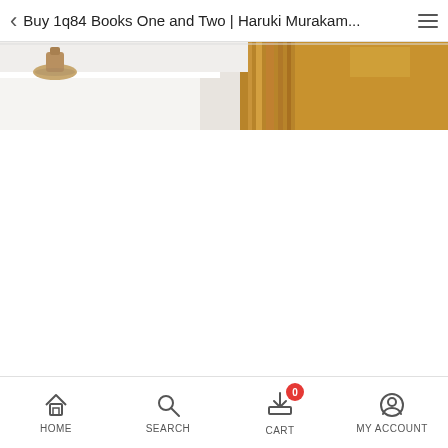Buy 1q84 Books One and Two | Haruki Murakam...
[Figure (photo): Partial view of a room with white shelving and a wooden framed element on the right side, with warm golden tones]
HOME   SEARCH   CART (0)   MY ACCOUNT